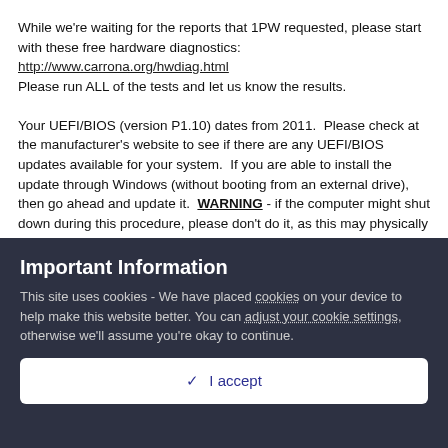While we're waiting for the reports that 1PW requested, please start with these free hardware diagnostics:
http://www.carrona.org/hwdiag.html
Please run ALL of the tests and let us know the results.

Your UEFI/BIOS (version P1.10) dates from 2011.  Please check at the manufacturer's website to see if there are any UEFI/BIOS updates available for your system.  If you are able to install the update through Windows (without booting from an external drive), then go ahead and update it.  WARNING - if the computer might shut down during this procedure, please don't do it, as this may physically damage the computer and prevent it from booting.
Important Information
This site uses cookies - We have placed cookies on your device to help make this website better. You can adjust your cookie settings, otherwise we'll assume you're okay to continue.
✓  I accept